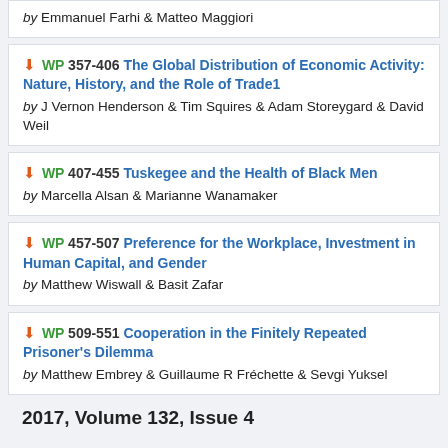WP 357-406 The Global Distribution of Economic Activity: Nature, History, and the Role of Trade1 by J Vernon Henderson & Tim Squires & Adam Storeygard & David Weil
WP 407-455 Tuskegee and the Health of Black Men by Marcella Alsan & Marianne Wanamaker
WP 457-507 Preference for the Workplace, Investment in Human Capital, and Gender by Matthew Wiswall & Basit Zafar
WP 509-551 Cooperation in the Finitely Repeated Prisoner's Dilemma by Matthew Embrey & Guillaume R Fréchette & Sevgi Yuksel
2017, Volume 132, Issue 4